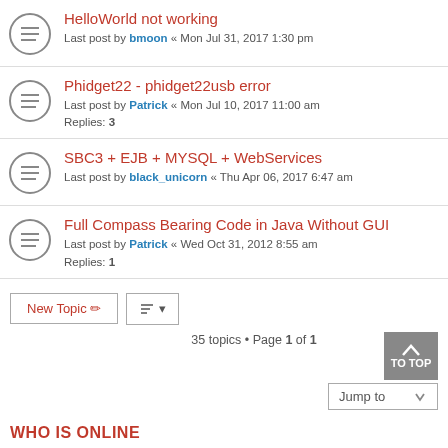HelloWorld not working
Last post by bmoon « Mon Jul 31, 2017 1:30 pm
Phidget22 - phidget22usb error
Last post by Patrick « Mon Jul 10, 2017 11:00 am
Replies: 3
SBC3 + EJB + MYSQL + WebServices
Last post by black_unicorn « Thu Apr 06, 2017 6:47 am
Full Compass Bearing Code in Java Without GUI
Last post by Patrick « Wed Oct 31, 2012 8:55 am
Replies: 1
35 topics • Page 1 of 1
WHO IS ONLINE